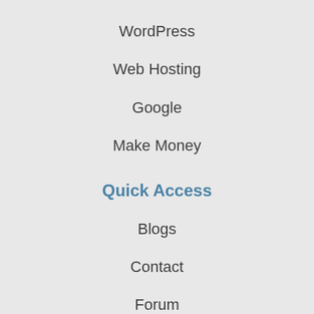WordPress
Web Hosting
Google
Make Money
Quick Access
Blogs
Contact
Forum
About